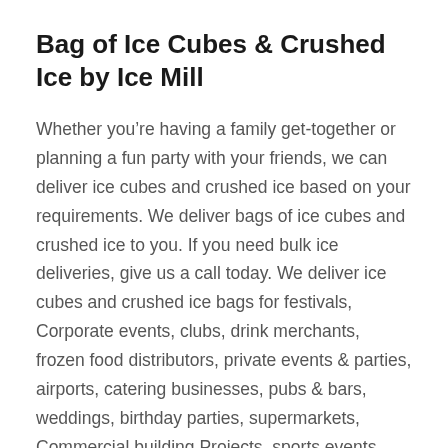Bag of Ice Cubes & Crushed Ice by Ice Mill
Whether you're having a family get-together or planning a fun party with your friends, we can deliver ice cubes and crushed ice based on your requirements. We deliver bags of ice cubes and crushed ice to you. If you need bulk ice deliveries, give us a call today. We deliver ice cubes and crushed ice bags for festivals, Corporate events, clubs, drink merchants, frozen food distributors, private events & parties, airports, catering businesses, pubs & bars, weddings, birthday parties, supermarkets, Commercial building Projects, sports events, food processing companies, restaurants & cafes in South West England & Wales.